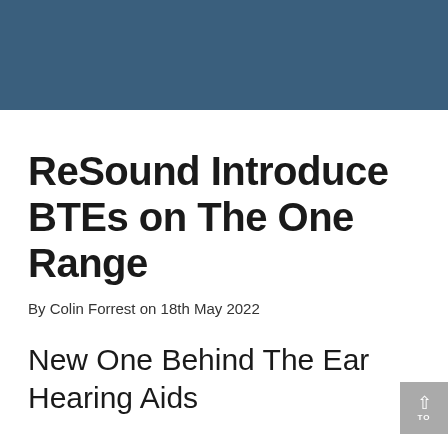ReSound Introduce BTEs on The One Range
By Colin Forrest on 18th May 2022
New One Behind The Ear Hearing Aids